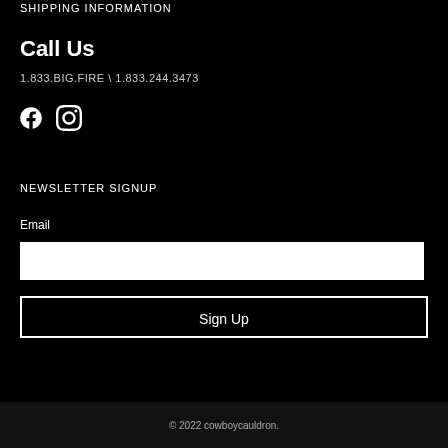SHIPPING INFORMATION
Call Us
1.833.BIG.FIRE \ 1.833.244.3473
[Figure (illustration): Social media icons: Facebook and Instagram]
NEWSLETTER SIGNUP
Email
[Figure (other): Email input text field (white background)]
Sign Up
© 2022 cowboycauldron.